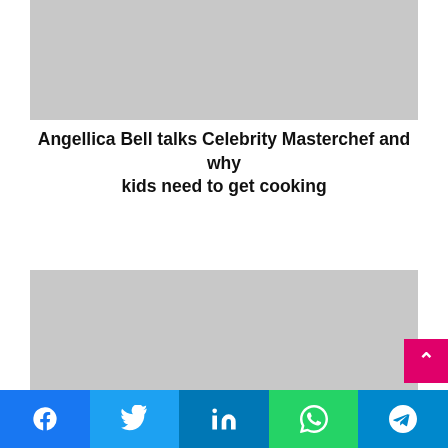[Figure (photo): Gray placeholder image at top of page]
Angellica Bell talks Celebrity Masterchef and why kids need to get cooking
[Figure (other): Gray placeholder video thumbnail with play button]
National Reality TV Awards: Interviews with Susanna Reid, Debbie McGee and Celebrity Big Brother stars
[Figure (other): Social sharing bar with Facebook, Twitter, LinkedIn, WhatsApp, and Telegram icons]